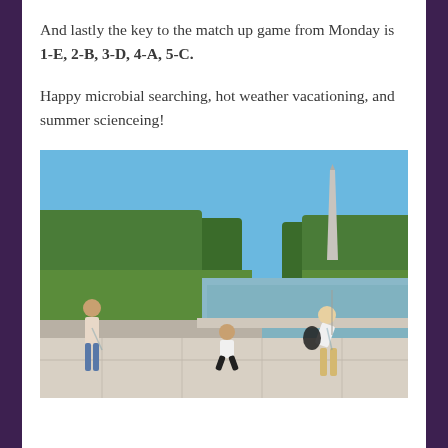And lastly the key to the match up game from Monday is 1-E, 2-B, 3-D, 4-A, 5-C.
Happy microbial searching, hot weather vacationing, and summer scienceing!
[Figure (photo): Outdoor photo at the National Mall reflecting pool in Washington D.C. on a sunny day. Three people are near the edge of the reflecting pool. The Washington Monument is visible in the background. Green trees line both sides of the mall. The sky is clear blue.]